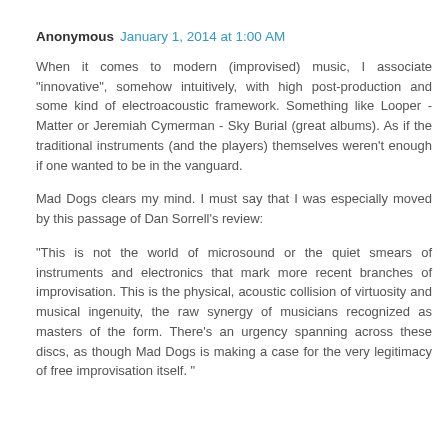Anonymous  January 1, 2014 at 1:00 AM
When it comes to modern (improvised) music, I associate "innovative", somehow intuitively, with high post-production and some kind of electroacoustic framework. Something like Looper - Matter or Jeremiah Cymerman - Sky Burial (great albums). As if the traditional instruments (and the players) themselves weren't enough if one wanted to be in the vanguard.
Mad Dogs clears my mind. I must say that I was especially moved by this passage of Dan Sorrell's review:
"This is not the world of microsound or the quiet smears of instruments and electronics that mark more recent branches of improvisation. This is the physical, acoustic collision of virtuosity and musical ingenuity, the raw synergy of musicians recognized as masters of the form. There's an urgency spanning across these discs, as though Mad Dogs is making a case for the very legitimacy of free improvisation itself. "